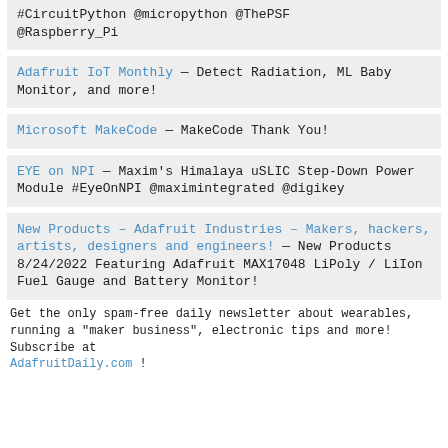#CircuitPython @micropython @ThePSF @Raspberry_Pi
Adafruit IoT Monthly — Detect Radiation, ML Baby Monitor, and more!
Microsoft MakeCode — MakeCode Thank You!
EYE on NPI — Maxim's Himalaya uSLIC Step-Down Power Module #EyeOnNPI @maximintegrated @digikey
New Products – Adafruit Industries – Makers, hackers, artists, designers and engineers! — New Products 8/24/2022 Featuring Adafruit MAX17048 LiPoly / LiIon Fuel Gauge and Battery Monitor!
Get the only spam-free daily newsletter about wearables, running a "maker business", electronic tips and more! Subscribe at AdafruitDaily.com !